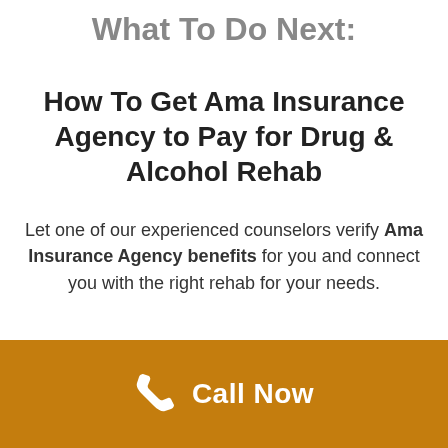What To Do Next:
How To Get Ama Insurance Agency to Pay for Drug & Alcohol Rehab
Let one of our experienced counselors verify Ama Insurance Agency benefits for you and connect you with the right rehab for your needs.
Call Now